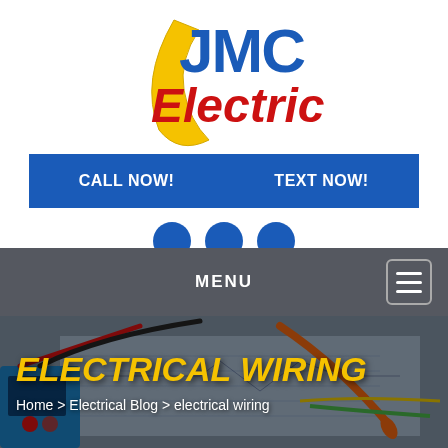[Figure (logo): JMC Electric company logo with blue JMC text, red Electric text, and yellow swoosh/lightning bolt graphic]
[Figure (other): Two blue call-to-action buttons: CALL NOW! and TEXT NOW!]
[Figure (other): Three blue circular dots/pagination indicators]
MENU
ELECTRICAL WIRING
Home > Electrical Blog > electrical wiring